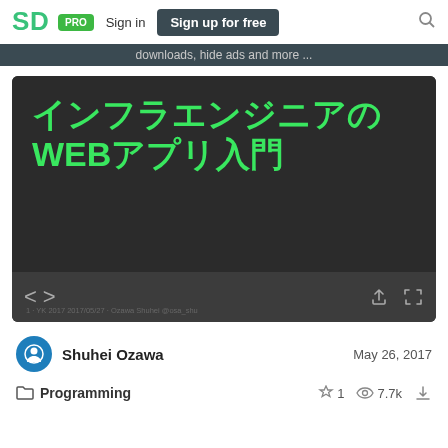SpeakerDeck PRO | Sign in | Sign up for free
downloads, hide ads and more ...
[Figure (screenshot): Slide presentation thumbnail showing Japanese text 'インフラエンジニアのWEBアプリ入門' in bright green on dark background, with navigation controls below]
Shuhei Ozawa — May 26, 2017
Programming — 1 star — 7.7k views — download